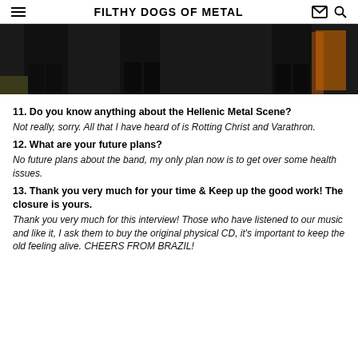FILTHY DOGS OF METAL
[Figure (photo): Partial view of band members' lower bodies, wearing dark clothing and boots, standing on a stage or floor.]
11. Do you know anything about the Hellenic Metal Scene?
Not really, sorry. All that I have heard of is Rotting Christ and Varathron.
12. What are your future plans?
No future plans about the band, my only plan now is to get over some health issues.
13. Thank you very much for your time & Keep up the good work! The closure is yours.
Thank you very much for this interview! Those who have listened to our music and like it, I ask them to buy the original physical CD, it's important to keep the old feeling alive. CHEERS FROM BRAZIL!